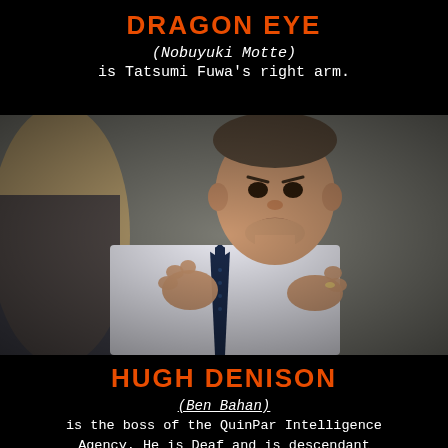DRAGON EYE
(Nobuyuki Motte) is Tatsumi Fuwa's right arm.
[Figure (photo): A middle-aged man in a white dress shirt and dark tie, making gestures with his hands, photographed from the chest up in what appears to be an office or meeting setting.]
HUGH DENISON
(Ben Bahan) is the boss of the QuinPar Intelligence Agency. He is Deaf and is descendant of James Denison, the only deaf delegate to attend the Milan